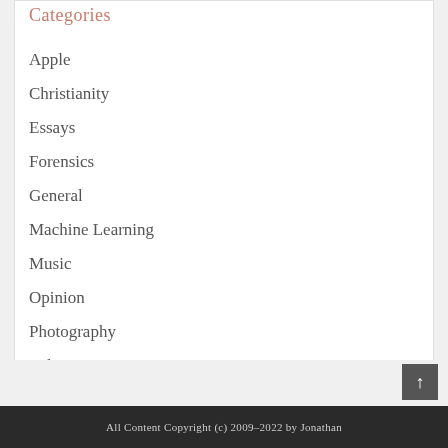Categories
Apple
Christianity
Essays
Forensics
General
Machine Learning
Music
Opinion
Photography
Politics
Security
All Content Copyright (c) 2009–2022 by Jonathan